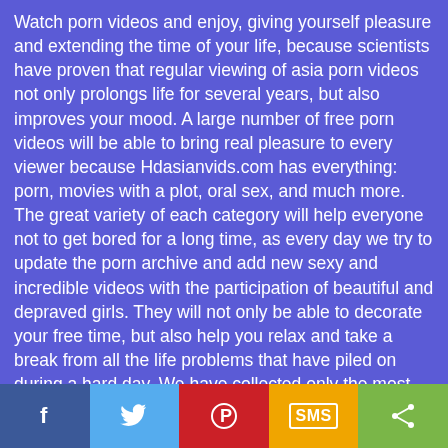Watch porn videos and enjoy, giving yourself pleasure and extending the time of your life, because scientists have proven that regular viewing of asia porn videos not only prolongs life for several years, but also improves your mood. A large number of free porn videos will be able to bring real pleasure to every viewer because Hdasianvids.com has everything: porn, movies with a plot, oral sex, and much more. The great variety of each category will help everyone not to get bored for a long time, as every day we try to update the porn archive and add new sexy and incredible videos with the participation of beautiful and depraved girls. They will not only be able to decorate your free time, but also help you relax and take a break from all the life problems that have piled on during a hard day. We have collected only the most beautiful, challenging, and vivid videos with the deepest penetrations to bring only the most positive emotions to our visitors with each new minute. To relax, you need to choose the appropriate category, and in it, you can familiarize yourself with a wide variety of slender videos of very different content and with the participation of the most beautiful girls from all over the world. Moreover, you can see and envy their skills in the field of sex, because they are all unique and inimitable in
[Figure (other): Social sharing bar with five buttons: Facebook (dark blue), Twitter (light blue), Pinterest (red), SMS (amber/yellow), and Share (green)]